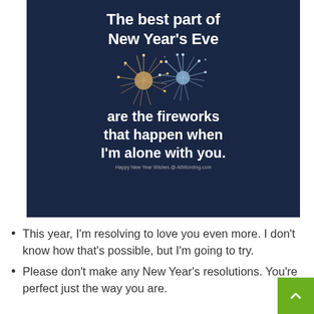[Figure (illustration): Dark navy blue image with white bold text reading 'The best part of New Year's Eve are the fireworks that happen when I'm alone with you.' with fireworks photo in the center and a small credit line 'Happy New Year Wishes @ AllWording.com']
This year, I'm resolving to love you even more. I don't know how that's possible, but I'm going to try.
Please don't make any New Year's resolutions. You're perfect just the way you are.